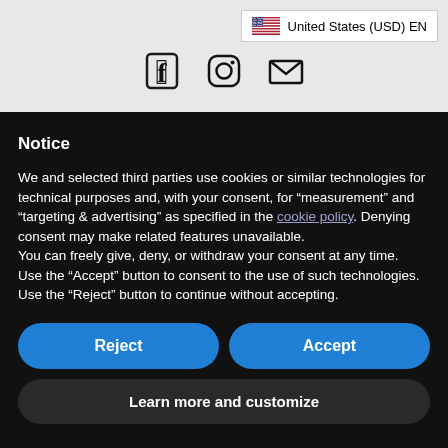[Figure (logo): US flag icon with text: United States (USD) EN]
[Figure (illustration): Social media icons: Facebook, Instagram, Email]
Notice
We and selected third parties use cookies or similar technologies for technical purposes and, with your consent, for “measurement” and “targeting & advertising” as specified in the cookie policy. Denying consent may make related features unavailable. You can freely give, deny, or withdraw your consent at any time. Use the “Accept” button to consent to the use of such technologies. Use the “Reject” button to continue without accepting.
Reject
Accept
Learn more and customize